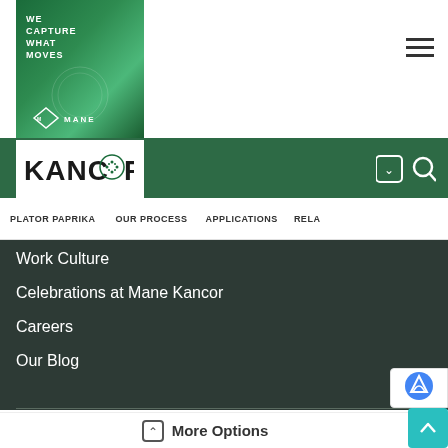[Figure (logo): Mane Kancor green banner with 'WE CAPTURE WHAT MOVES' text and Mane logo at bottom]
[Figure (logo): Hamburger menu icon (three horizontal lines)]
[Figure (logo): KANCOR logo with decorative circular emblem on green navigation bar]
[Figure (logo): Dropdown arrow button and search icon on green bar]
PLATOR PAPRIKA   OUR PROCESS   APPLICATIONS   RELA
Work Culture
Celebrations at Mane Kancor
Careers
Our Blog
[Figure (logo): Mane Kancor white logo with diamond emblem on dark background]
More Options